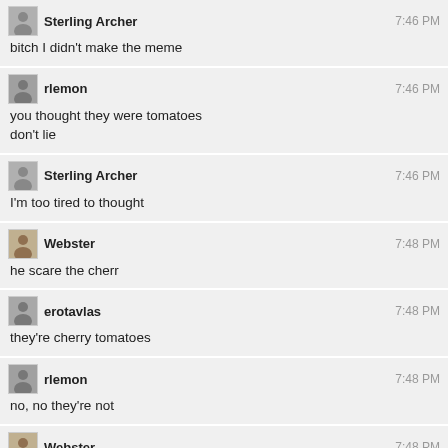Sterling Archer 7:46 PM — bitch I didn't make the meme
rlemon 7:46 PM — you thought they were tomatoes
don't lie
Sterling Archer 7:46 PM — I'm too tired to thought
Webster 7:48 PM — he scare the cherr
erotavlas 7:48 PM — they're cherry tomatoes
rlemon 7:48 PM — no, no they're not
Webster 7:48 PM — rhyme it
rlemon 7:48 PM — have you ever seen a tomato?
Webster 7:49 PM — they're the cherries with yellow parts